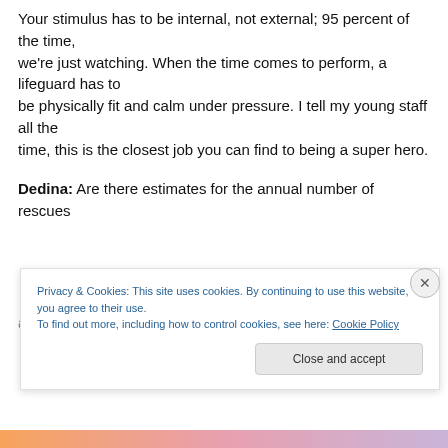Your stimulus has to be internal, not external; 95 percent of the time, we're just watching. When the time comes to perform, a lifeguard has to be physically fit and calm under pressure. I tell my young staff all the time, this is the closest job you can find to being a super hero.
Dedina: Are there estimates for the annual number of rescues and assists carried out annually in San Diego County by
Privacy & Cookies: This site uses cookies. By continuing to use this website, you agree to their use. To find out more, including how to control cookies, see here: Cookie Policy
Close and accept